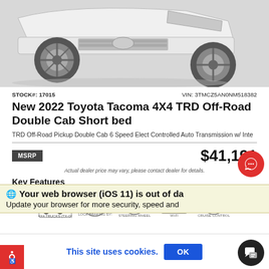[Figure (photo): Partial front/side view of a white Toyota Tacoma pickup truck on a light grey background]
STOCK#: 17015    VIN: 3TMCZ5AN0NM518382
New 2022 Toyota Tacoma 4X4 TRD Off-Road Double Cab Short bed
TRD Off-Road Pickup Double Cab 6 Speed Elect Controlled Auto Transmission w/ Inte
MSRP   $41,191
Actual dealer price may vary, please contact dealer for details.
Key Features
[Figure (illustration): Key feature icons: 4WD/Truck icon, ABS icon, Steering Wheel icon, Wi-Fi icon, Clock/Timer icon]
Your web browser (iOS 11) is out of da...
Update your browser for more security, speed and
This site uses cookies.